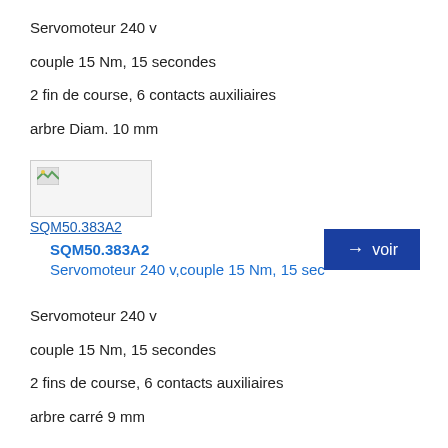Servomoteur 240 v
couple 15 Nm, 15 secondes
2 fin de course, 6 contacts auxiliaires
arbre Diam. 10 mm
[Figure (other): Product image placeholder for SQM50.383A2]
SQM50.383A2
SQM50.383A2
Servomoteur 240 v,couple 15 Nm, 15 sec
→ voir
Servomoteur 240 v
couple 15 Nm, 15 secondes
2 fins de course, 6 contacts auxiliaires
arbre carré 9 mm
[Figure (other): Product image placeholder (bottom)]